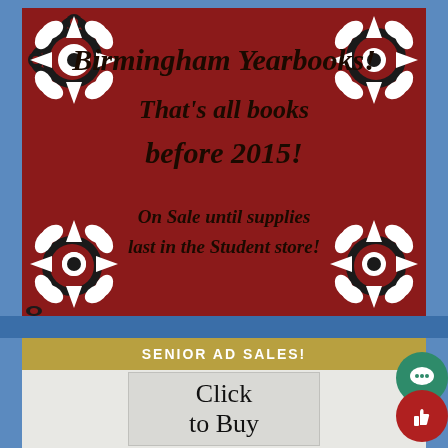[Figure (illustration): Red background with black and white damask floral pattern border around the edges, with dark italic bold text reading 'Birmingham Yearbooks! That's all books before 2015!' in the upper/center area, and 'On Sale until supplies last in the Student store!' in the lower area.]
SENIOR AD SALES!
[Figure (illustration): Light gray box with text 'Click to Buy' in large serif font, partially visible.]